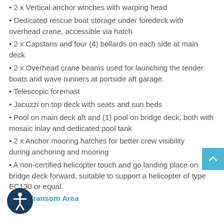2 x Vertical anchor winches with warping head
Dedicated rescue boat storage under foredeck with overhead crane, accessible via hatch
2 x Capstans and four (4) bollards on each side at main deck
2 x Overhead crane beams used for launching the tender boats and wave runners at portside aft garage.
Telescopic foremast
Jacuzzi on top deck with seats and sun beds
Pool on main deck aft and (1) pool on bridge deck, both with mosaic inlay and dedicated pool tank
2 x Anchor mooring hatches for better crew visibility during anchoring and mooring
A non-certified helicopter touch and go landing place on bridge deck forward, suitable to support a helicopter of type EC130 or equal.
Transom Area